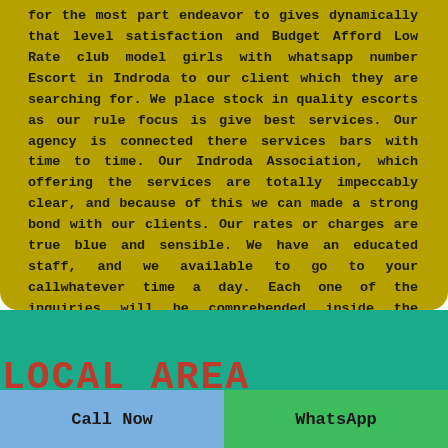for the most part endeavor to gives dynamically that level satisfaction and Budget Afford Low Rate club model girls with whatsapp number Escort in Indroda to our client which they are searching for. We place stock in quality escorts as our rule focus is give best services. Our agency is connected there services bars with time to time. Our Indroda Association, which offering the services are totally impeccably clear, and because of this we can made a strong bond with our clients. Our rates or charges are true blue and sensible. We have an educated staff, and we available to go to your callwhatever time a day. Each one of the inquiries will be comprehended inside the occasion.
LOCAL AREA GUJARAT
Call Now
WhatsApp